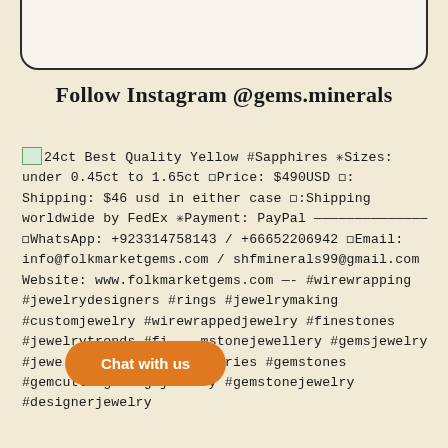[Figure (other): Top portion of a rounded rectangle card, partially visible at top of page]
Follow Instagram @gems.minerals
24ct Best Quality Yellow #Sapphires ✳Sizes: under 0.45ct to 1.65ct ◻Price: $490USD ◻: Shipping: $46 usd in either case ◻:Shipping worldwide by FedEx ✳Payment: PayPal —————————————— ◻WhatsApp: +923314758143 / +66652206942 ◻Email: info@folkmarketgems.com / shfminerals99@gmail.com Website: www.folkmarketgems.com —- #wirewrapping #jewelrydesigners #rings #jewelrymaking #customjewelry #wirewrappedjewelry #finestones #jewelrytrends #fi mstonejewellery #gemsjewelry #jewelry overs accessories #gemstones #gemcutting #highjewelry #gemstonejewelry #designerjewelry
Chat with us